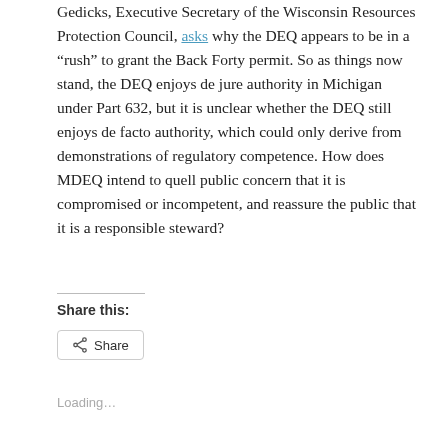Gedicks, Executive Secretary of the Wisconsin Resources Protection Council, asks why the DEQ appears to be in a “rush” to grant the Back Forty permit. So as things now stand, the DEQ enjoys de jure authority in Michigan under Part 632, but it is unclear whether the DEQ still enjoys de facto authority, which could only derive from demonstrations of regulatory competence. How does MDEQ intend to quell public concern that it is compromised or incompetent, and reassure the public that it is a responsible steward?
Share this:
Share
Loading...